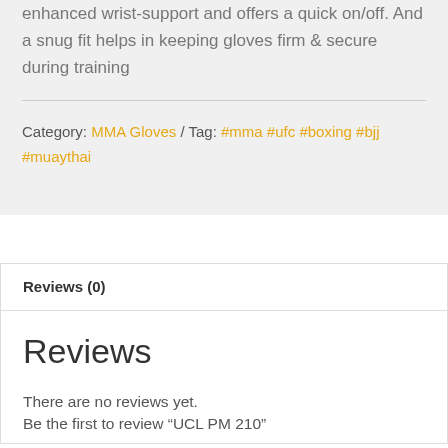enhanced wrist-support and offers a quick on/off. And a snug fit helps in keeping gloves firm & secure during training
Category: MMA Gloves / Tag: #mma #ufc #boxing #bjj #muaythai
Reviews (0)
Reviews
There are no reviews yet.
Be the first to review "UCL PM 210"